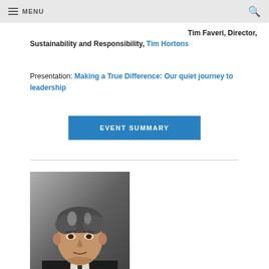MENU
Tim Faveri, Director, Sustainability and Responsibility, Tim Hortons
Presentation: Making a True Difference: Our quiet journey to leadership
EVENT SUMMARY
[Figure (photo): Portrait photo of Tim Faveri, a middle-aged man with gray-streaked dark hair, wearing a dark suit and tie, against a gray background.]